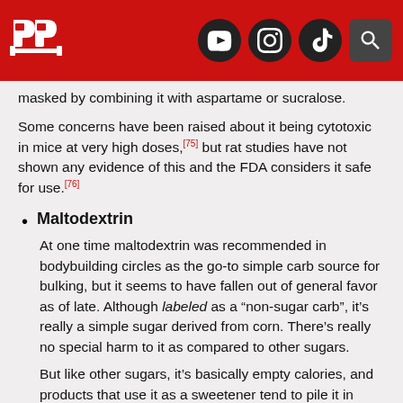[Figure (logo): Website header with red background, PP logo on left, and social media icons (YouTube, Instagram, TikTok, Search) on right]
masked by combining it with aspartame or sucralose.
Some concerns have been raised about it being cytotoxic in mice at very high doses,[75] but rat studies have not shown any evidence of this and the FDA considers it safe for use.[76]
Maltodextrin
At one time maltodextrin was recommended in bodybuilding circles as the go-to simple carb source for bulking, but it seems to have fallen out of general favor as of late. Although labeled as a “non-sugar carb”, it’s really a simple sugar derived from corn. There’s really no special harm to it as compared to other sugars.
But like other sugars, it’s basically empty calories, and products that use it as a sweetener tend to pile it in because it’s really cheap and wastes space in the tub of protein (that could be better used for actual protein